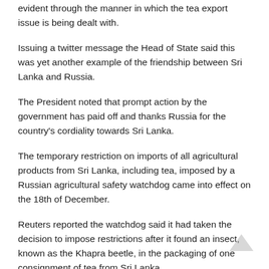evident through the manner in which the tea export issue is being dealt with.
Issuing a twitter message the Head of State said this was yet another example of the friendship between Sri Lanka and Russia.
The President noted that prompt action by the government has paid off and thanks Russia for the country's cordiality towards Sri Lanka.
The temporary restriction on imports of all agricultural products from Sri Lanka, including tea, imposed by a Russian agricultural safety watchdog came into effect on the 18th of December.
Reuters reported the watchdog said it had taken the decision to impose restrictions after it found an insect, known as the Khapra beetle, in the packaging of one consignment of tea from Sri Lanka.